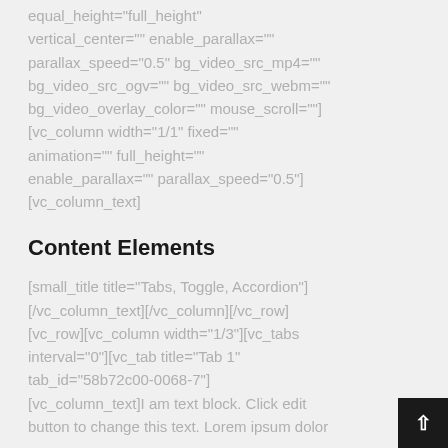equal_height="full_height" vertical_center="" enable_parallax="" parallax_speed="0.5" bg_video_src_mp4="" bg_video_src_ogv="" bg_video_src_webm="" bg_video_overlay_color="" mouse_scroll=""] [vc_column width="1/1" fixed="" animation="" full_height="" enable_parallax="" parallax_speed="0.5"] [vc_column_text]
Content Elements
[small_title title="Tabs, Toggle, Accordion"] [/vc_column_text][/vc_column][/vc_row] [vc_row][vc_column width="1/3"][vc_tabs interval="0"][vc_tab title="Tab 1" tab_id="58b72c00-0068-7"] [vc_column_text]I am text block. Click edit button to change this text. Lorem ipsum dolor